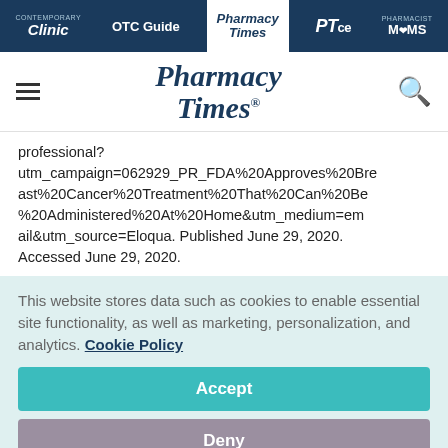Contemporary Clinic | OTC Guide | Pharmacy Times | PTce | Pharmacist MOMS
[Figure (logo): Pharmacy Times logo with hamburger menu and search icon]
professional? utm_campaign=062929_PR_FDA%20Approves%20Breast%20Cancer%20Treatment%20That%20Can%20Be%20Administered%20At%20Home&utm_medium=email&utm_source=Eloqua. Published June 29, 2020. Accessed June 29, 2020.
This website stores data such as cookies to enable essential site functionality, as well as marketing, personalization, and analytics. Cookie Policy
Accept
Deny